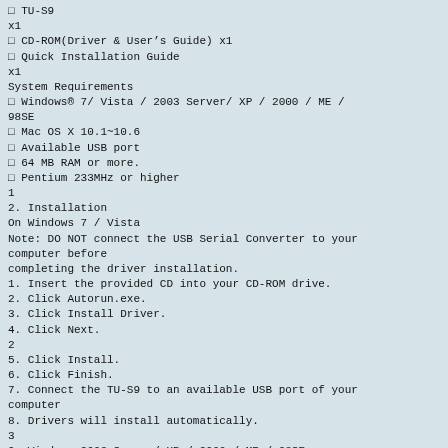□ TU-S9  x1
□ CD-ROM(Driver & User's Guide) x1
□ Quick Installation Guide  x1
System Requirements
□ Windows® 7/ Vista / 2003 Server/ XP / 2000 / ME / 98SE
□ Mac OS X 10.1~10.6
□ Available USB port
□ 64 MB RAM or more.
□ Pentium 233MHz or higher
1
2. Installation
On Windows 7 / Vista
Note: DO NOT connect the USB Serial Converter to your computer before completing the driver installation.
1. Insert the provided CD into your CD-ROM drive.
2. Click Autorun.exe.
3. Click Install Driver.
4. Click Next.
2
5. Click Install.
6. Click Finish.
7. Connect the TU-S9 to an available USB port of your computer
8. Drivers will install automatically.
3
On Windows 2003 Server/ XP / 2000 / ME / 98SE
Note: DO NOT connect the USB Serial Converter to your computer before completing the driver installation.